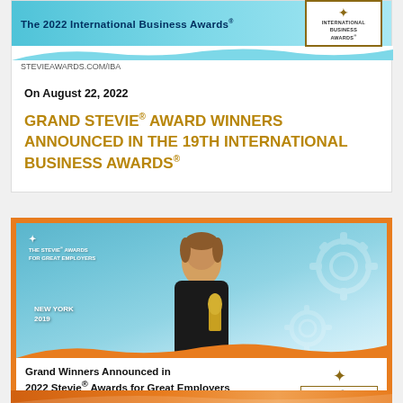[Figure (infographic): Top banner for The 2022 International Business Awards with blue wave header, award logo, and STEVIEAWARDS.COM/IBA URL]
On August 22, 2022
GRAND STEVIE® AWARD WINNERS ANNOUNCED IN THE 19TH INTERNATIONAL BUSINESS AWARDS®
[Figure (photo): Photo of a woman at a podium holding a trophy at The Stevie Awards for Great Employers event in New York 2019, with orange border frame]
Grand Winners Announced in 2022 Stevie® Awards for Great Employers
STEVIEAWARDS.COM/HR